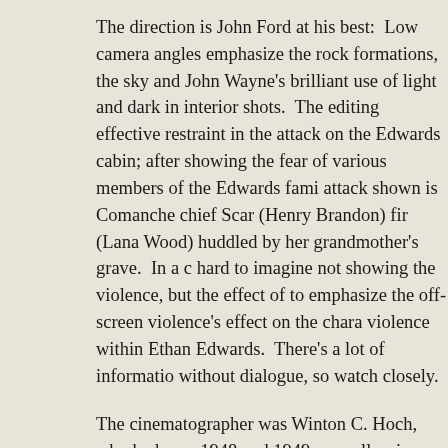The direction is John Ford at his best: Low camera angles emphasize the rock formations, the sky and John Wayne's brilliant use of light and dark in interior shots. The editing effective restraint in the attack on the Edwards cabin; after showing the fear of various members of the Edwards fami attack shown is Comanche chief Scar (Henry Brandon) fir (Lana Wood) huddled by her grandmother's grave. In a c hard to imagine not showing the violence, but the effect of to emphasize the off-screen violence's effect on the chara violence within Ethan Edwards. There's a lot of informatio without dialogue, so watch closely.
The cinematographer was Winton C. Hoch, who had won 1948 and 1949, as well as in 1952. The music by Max Ste Americana themes: Lorena, Bonny Blue Flag, Garry Owe the Sons of the Pioneers now seems a bit old-fashioned, b on a novel by Alan LeMay, the screenplay was written by Frank Nugent (nominated for an Oscar for his work with F an extended discussion of both (a) the historical roots of th of Comanche/Tex...